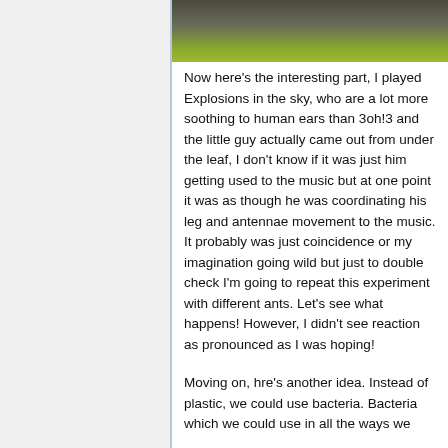[Figure (photo): Partial photo strip at the top showing a dark/muted outdoor scene with yellow-green element visible on the right side]
Now here's the interesting part, I played Explosions in the sky, who are a lot more soothing to human ears than 3oh!3 and the little guy actually came out from under the leaf, I don't know if it was just him getting used to the music but at one point it was as though he was coordinating his leg and antennae movement to the music. It probably was just coincidence or my imagination going wild but just to double check I'm going to repeat this experiment with different ants. Let's see what happens! However, I didn't see reaction as pronounced as I was hoping!
Moving on, hre's another idea. Instead of plastic, we could use bacteria. Bacteria which we could use in all the ways we